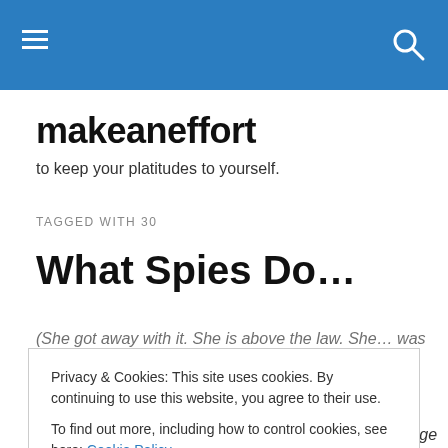makeaneffort — navigation header with hamburger menu and search icon
makeaneffort
to keep your platitudes to yourself.
TAGGED WITH 30
What Spies Do…
(She got away with it. She is above the law. She… was
Privacy & Cookies: This site uses cookies. By continuing to use this website, you agree to their use. To find out more, including how to control cookies, see here: Cookie Policy
it take six months (Now 20 months) to address the Large